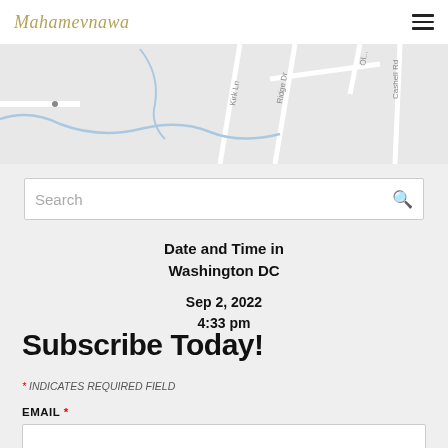Mahamevnawa
[Figure (map): Street map showing Kirk Ln, Ridge Dr, Cashell Rd, and other roads in a light gray style with blue water features]
Search
Date and Time in Washington DC
Sep 2, 2022
4:33 pm
Subscribe Today!
* INDICATES REQUIRED FIELD
EMAIL *